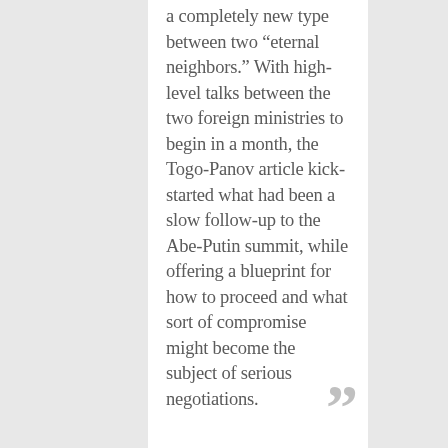a completely new type between two “eternal neighbors.” With high-level talks between the two foreign ministries to begin in a month, the Togo-Panov article kick-started what had been a slow follow-up to the Abe-Putin summit, while offering a blueprint for how to proceed and what sort of compromise might become the subject of serious negotiations.